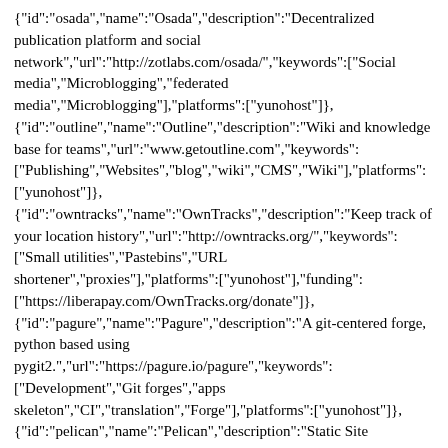{"id":"osada","name":"Osada","description":"Decentralized publication platform and social network","url":"http://zotlabs.com/osada/","keywords":["Social media","Microblogging","federated media","Microblogging"],"platforms":["yunohost"]}, {"id":"outline","name":"Outline","description":"Wiki and knowledge base for teams","url":"www.getoutline.com","keywords": ["Publishing","Websites","blog","wiki","CMS","Wiki"],"platforms": ["yunohost"]}, {"id":"owntracks","name":"OwnTracks","description":"Keep track of your location history","url":"http://owntracks.org/","keywords": ["Small utilities","Pastebins","URL shortener","proxies"],"platforms":["yunohost"],"funding": ["https://liberapay.com/OwnTracks.org/donate"]}, {"id":"pagure","name":"Pagure","description":"A git-centered forge, python based using pygit2.","url":"https://pagure.io/pagure","keywords": ["Development","Git forges","apps skeleton","CI","translation","Forge"],"platforms":["yunohost"]}, {"id":"pelican","name":"Pelican","description":"Static Site Generator","url":"https://blog.getpelican.com","keywords": ["Publishing","Websites","blog","wiki","CMS","Websites"],"platforms": ["yunohost"]}, {"id":"pgAdmin","name":"pgAdmin","description":"Manage